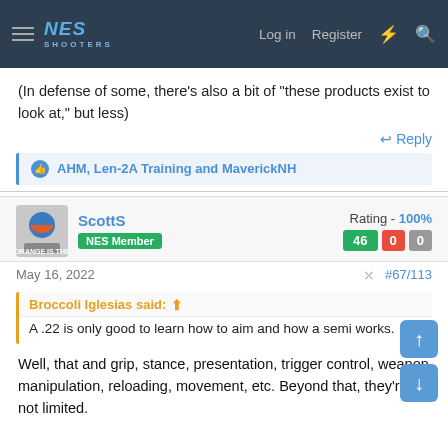NES SHOOTERS — Log in  Register
(In defense of some, there's also a bit of "these products exist to look at," but less)
↩ Reply
👍 AHM, Len-2A Training and MaverickNH
ScottS  NES Member  Rating - 100%  46  0  0
May 16, 2022  #67/113
Broccoli Iglesias said:  A .22 is only good to learn how to aim and how a semi works.
Well, that and grip, stance, presentation, trigger control, weapon manipulation, reloading, movement, etc. Beyond that, they're not limited.